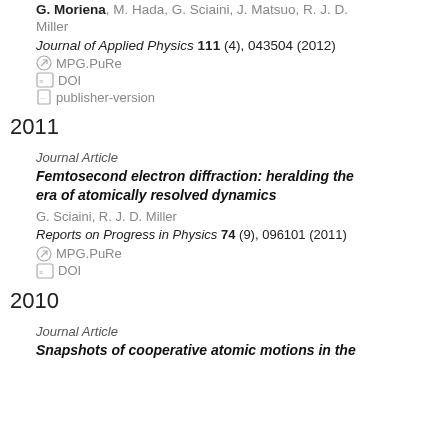G. Moriena, M. Hada, G. Sciaini, J. Matsuo, R. J. D. Miller
Journal of Applied Physics 111 (4), 043504 (2012)
MPG.PuRe
DOI
publisher-version
2011
Journal Article
Femtosecond electron diffraction: heralding the era of atomically resolved dynamics
G. Sciaini, R. J. D. Miller
Reports on Progress in Physics 74 (9), 096101 (2011)
MPG.PuRe
DOI
2010
Journal Article
Snapshots of cooperative atomic motions in the